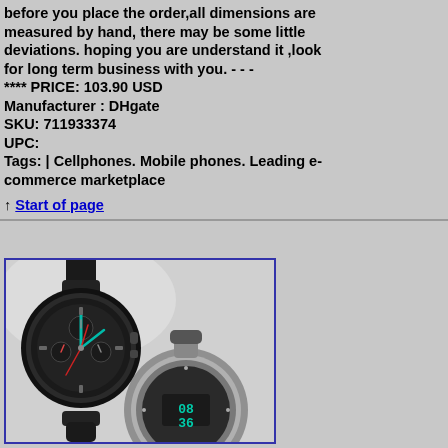before you place the order,all dimensions are measured by hand, there may be some little deviations. hoping you are understand it ,look for long term business with you. - - - **** PRICE: 103.90 USD Manufacturer : DHgate SKU: 711933374 UPC: Tags: | Cellphones. Mobile phones. Leading e-commerce marketplace
↑ Start of page
[Figure (photo): Photo of two smartwatches — one black with a chronograph-style face showing teal and red accents, and one silver/grey with a digital face showing 08:36, both with silicone bands.]